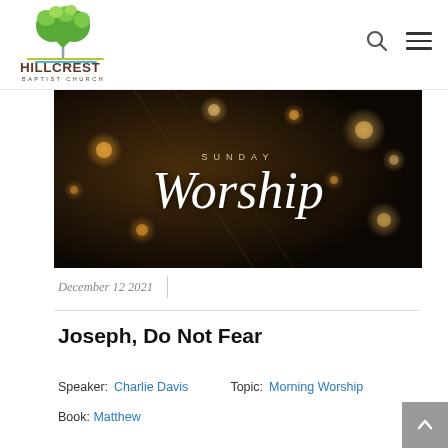[Figure (logo): Hillcrest Baptist Church logo with a green heart-shaped tree above teal water lines and the text HILLCREST BAPTIST CHURCH]
[Figure (photo): Sunday Worship banner image showing hanging bokeh lights in warm amber tones on a dark background with the text SUNDAY Worship in white italic lettering]
December 12 2021
Joseph, Do Not Fear
Speaker: Charlie Davis   Topic: Morning Worship
Book: Matthew